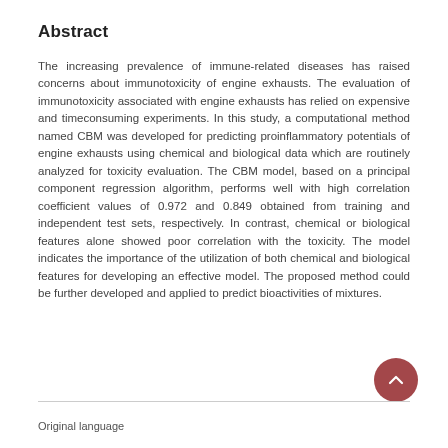Abstract
The increasing prevalence of immune-related diseases has raised concerns about immunotoxicity of engine exhausts. The evaluation of immunotoxicity associated with engine exhausts has relied on expensive and timeconsuming experiments. In this study, a computational method named CBM was developed for predicting proinflammatory potentials of engine exhausts using chemical and biological data which are routinely analyzed for toxicity evaluation. The CBM model, based on a principal component regression algorithm, performs well with high correlation coefficient values of 0.972 and 0.849 obtained from training and independent test sets, respectively. In contrast, chemical or biological features alone showed poor correlation with the toxicity. The model indicates the importance of the utilization of both chemical and biological features for developing an effective model. The proposed method could be further developed and applied to predict bioactivities of mixtures.
Original language